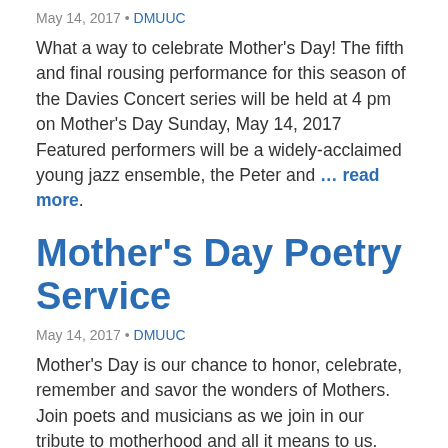May 14, 2017 • DMUUC
What a way to celebrate Mother's Day!  The fifth and final rousing performance for this season of the Davies Concert series will be held at 4 pm on Mother's Day Sunday, May 14, 2017  Featured performers will be a widely-acclaimed young jazz ensemble, the Peter and … read more.
Mother's Day Poetry Service
May 14, 2017 • DMUUC
Mother's Day is our chance to honor, celebrate, remember and savor the wonders of Mothers.  Join poets and musicians as we join in our tribute to motherhood and all it means to us.  And get ready! – Time permitting, we'll ask members of the Congregation … read more.
An Embodied Faith...